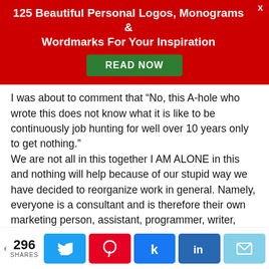125 Beautiful Personal Logos, Monograms & Wordmarks For Your Inspiration
[Figure (other): Green READ NOW button on red banner]
I was about to comment that “No, this A-hole who wrote this does not know what it is like to be continuously job hunting for well over 10 years only to get nothing.” We are not all in this together I AM ALONE in this and nothing will help because of our stupid way we have decided to reorganize work in general. Namely, everyone is a consultant and is therefore their own marketing person, assistant, programmer, writer, biller, accounts payable person and salesperson. I repeat, it is a stupid way to live but we are stuck with it and powerless to do a goddamn thing about it. The world is getting stupider, meaner, nastier and more cut throat. Only people who know very advanced computer coding willl ever
296 SHARES  [Twitter] [Pinterest] [Facebook] [LinkedIn] [Email]